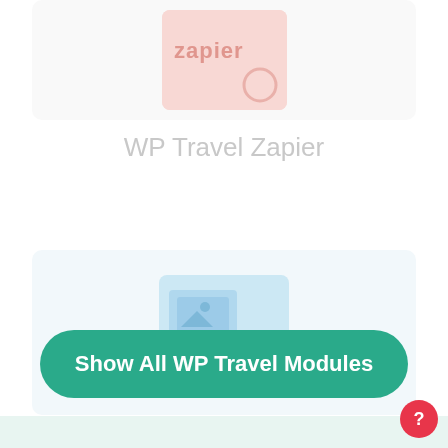[Figure (screenshot): Zapier plugin card with pink/salmon background showing Zapier logo text and a circular icon]
WP Travel Zapier
[Figure (screenshot): Advanced Gallery plugin card with light blue background showing image/media icons]
Show All WP Travel Modules
WP Travel Advanced Gallery